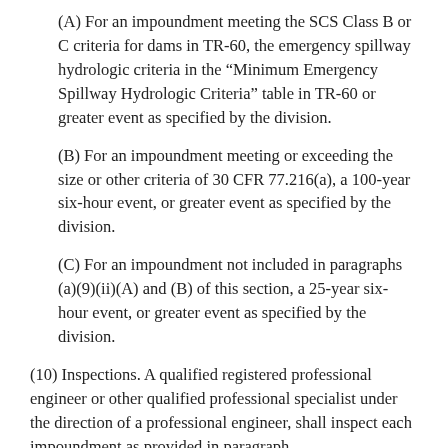(A) For an impoundment meeting the SCS Class B or C criteria for dams in TR-60, the emergency spillway hydrologic criteria in the “Minimum Emergency Spillway Hydrologic Criteria” table in TR-60 or greater event as specified by the division.
(B) For an impoundment meeting or exceeding the size or other criteria of 30 CFR 77.216(a), a 100-year six-hour event, or greater event as specified by the division.
(C) For an impoundment not included in paragraphs (a)(9)(ii)(A) and (B) of this section, a 25-year six-hour event, or greater event as specified by the division.
(10) Inspections. A qualified registered professional engineer or other qualified professional specialist under the direction of a professional engineer, shall inspect each impoundment as provided in paragraph